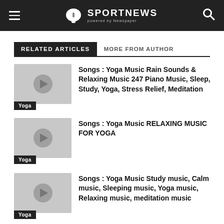SPORTNEWS powered by Newspaper
RELATED ARTICLES   MORE FROM AUTHOR
Songs : Yoga Music Rain Sounds & Relaxing Music 247 Piano Music, Sleep, Study, Yoga, Stress Relief, Meditation
Songs : Yoga Music RELAXING MUSIC FOR YOGA
Songs : Yoga Music Study music, Calm music, Sleeping music, Yoga music, Relaxing music, meditation music